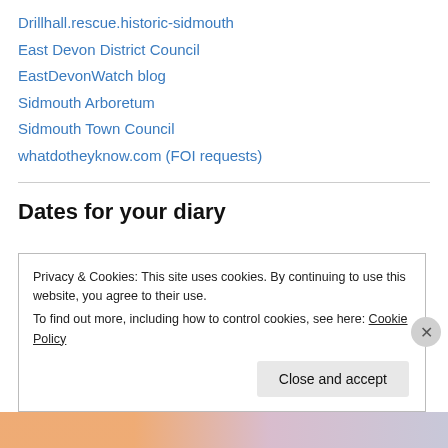Drillhall.rescue.historic-sidmouth
East Devon District Council
EastDevonWatch blog
Sidmouth Arboretum
Sidmouth Town Council
whatdotheyknow.com (FOI requests)
Dates for your diary
Please note: Public are welcome to attend Council meetings. Audio and video recordings permitted (EDDC has experienced some technical
Privacy & Cookies: This site uses cookies. By continuing to use this website, you agree to their use.
To find out more, including how to control cookies, see here: Cookie Policy